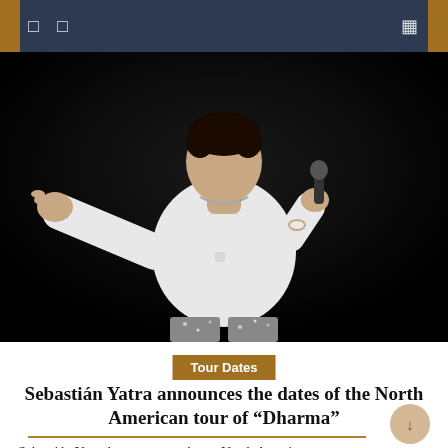Navigation bar with menu and search icons
[Figure (photo): Sebastian Yatra performing on stage in a white t-shirt and sparkly pants, holding a microphone, black background]
Tour Dates
Sebastián Yatra announces the dates of the North American tour of “Dharma”
Sebastián Yatra has announced new North American tour